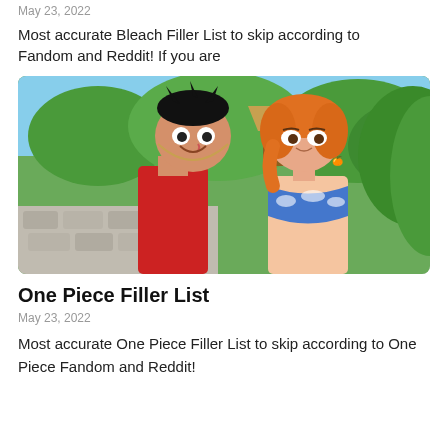May 23, 2022
Most accurate Bleach Filler List to skip according to Fandom and Reddit! If you are
[Figure (photo): Anime illustration from One Piece showing two characters: Luffy in a red vest with a straw hat and Nami in a blue bikini top, standing outdoors with tropical foliage and a thatched-roof building in the background.]
One Piece Filler List
May 23, 2022
Most accurate One Piece Filler List to skip according to One Piece Fandom and Reddit!